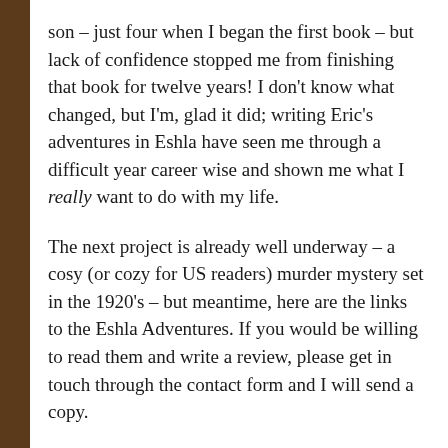son – just four when I began the first book – but lack of confidence stopped me from finishing that book for twelve years! I don't know what changed, but I'm, glad it did; writing Eric's adventures in Eshla have seen me through a difficult year career wise and shown me what I really want to do with my life.
The next project is already well underway – a cosy (or cozy for US readers) murder mystery set in the 1920's – but meantime, here are the links to the Eshla Adventures. If you would be willing to read them and write a review, please get in touch through the contact form and I will send a copy.
Many thanks x